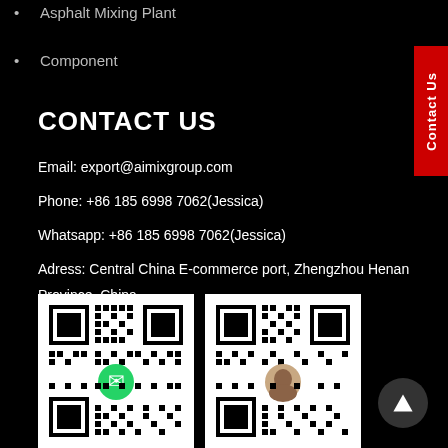Asphalt Mixing Plant
Component
CONTACT US
Email: export@aimixgroup.com
Phone: +86 185 6998 7062(Jessica)
Whatsapp: +86 185 6998 7062(Jessica)
Adress: Central China E-commerce port, Zhengzhou Henan Province, China
[Figure (other): WhatsApp QR code]
[Figure (other): Contact person QR code with profile photo]